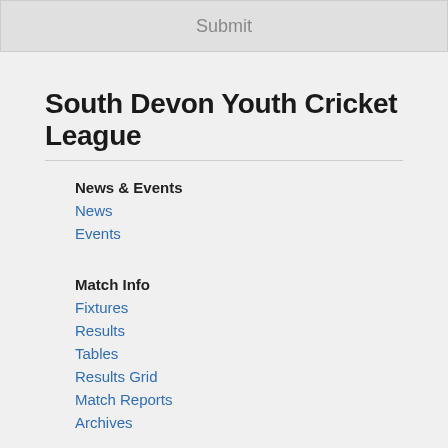Submit
South Devon Youth Cricket League
News & Events
News
Events
Match Info
Fixtures
Results
Tables
Results Grid
Match Reports
Archives
Clubs